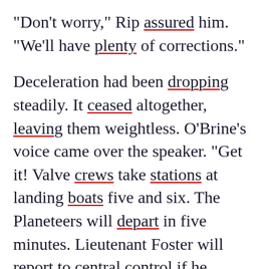"Don't worry," Rip assured him. "We'll have plenty of corrections."
Deceleration had been dropping steadily. It ceased altogether, leaving them weightless. O'Brine's voice came over the speaker. "Get it! Valve crews take stations at landing boats five and six. The Planeteers will depart in five minutes. Lieutenant Foster will report to central control if he cannot be ready in that time."
Santos grinned at Rip. "Here we go, Lieutenant."
Rip's heart would have dropped into his shoes if there had been any gravity. Only a little excitement showed on his face, though. He